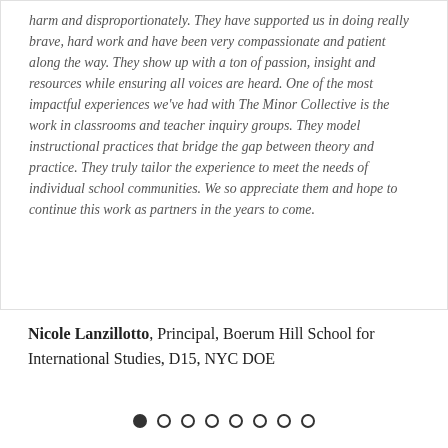harm and disproportionately. They have supported us in doing really brave, hard work and have been very compassionate and patient along the way. They show up with a ton of passion, insight and resources while ensuring all voices are heard. One of the most impactful experiences we've had with The Minor Collective is the work in classrooms and teacher inquiry groups. They model instructional practices that bridge the gap between theory and practice. They truly tailor the experience to meet the needs of individual school communities. We so appreciate them and hope to continue this work as partners in the years to come.
Nicole Lanzillotto, Principal, Boerum Hill School for International Studies, D15, NYC DOE